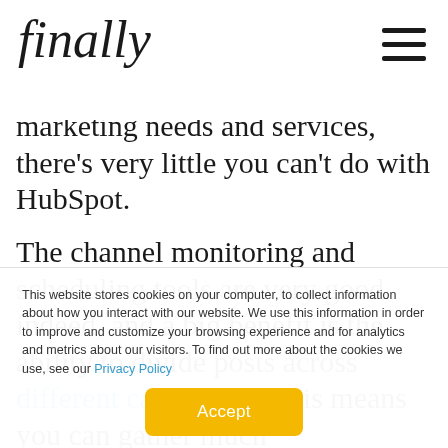finally
marketing needs and services, there's very little you can't do with HubSpot.
The channel monitoring and scheduling tools are very good indeed, and a big benefit is the ability to divide posts across different campaigns - this means you can gather much
This website stores cookies on your computer, to collect information about how you interact with our website. We use this information in order to improve and customize your browsing experience and for analytics and metrics about our visitors. To find out more about the cookies we use, see our Privacy Policy
Accept